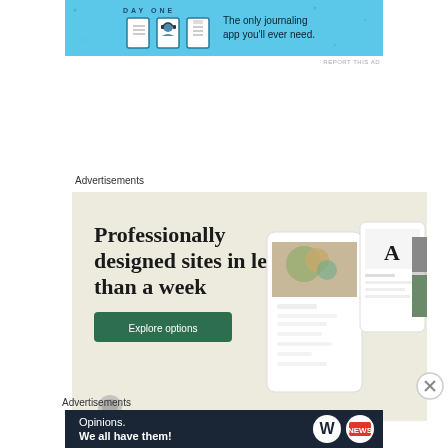[Figure (photo): Day One journaling app advertisement banner with light blue background, app icons (journal, person with headphones, notepad), and text 'The only journaling app you'll ever need.' with 'DAY ONE' branding at top]
REPORT THIS AD
Advertisements
[Figure (photo): Squarespace-style advertisement with beige/cream background showing 'Professionally designed sites in less than a week' headline, green 'Explore options' button, and mockup screenshots of website designs including food photography and portfolio pages]
Advertisements
REPORT THIS AD
[Figure (photo): WordPress.com advertisement banner with dark navy background showing 'Opinions. We all have them!' text and WordPress and News logos on the right]